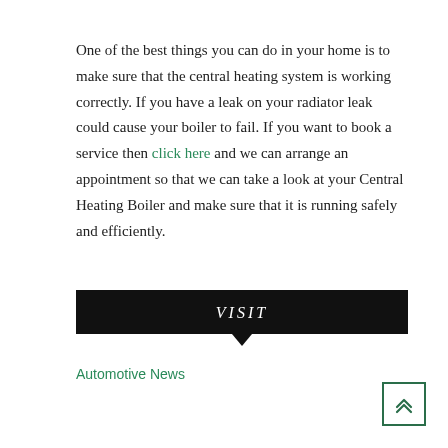One of the best things you can do in your home is to make sure that the central heating system is working correctly. If you have a leak on your radiator leak could cause your boiler to fail. If you want to book a service then click here and we can arrange an appointment so that we can take a look at your Central Heating Boiler and make sure that it is running safely and efficiently.
[Figure (other): Black banner with white italic text 'VISIT' and a downward-pointing arrow below]
Automotive News
[Figure (other): Scroll-to-top button: green-bordered square with double chevron up arrow]